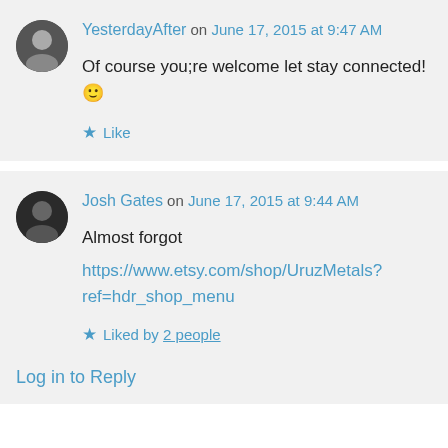YesterdayAfter on June 17, 2015 at 9:47 AM
Of course you;re welcome let stay connected! 🙂
★ Like
Josh Gates on June 17, 2015 at 9:44 AM
Almost forgot
https://www.etsy.com/shop/UruzMetals?ref=hdr_shop_menu
★ Liked by 2 people
Log in to Reply